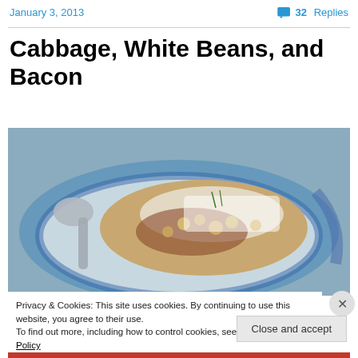January 3, 2013    💬 32 Replies
Cabbage, White Beans, and Bacon
[Figure (photo): A close-up photo of a dish of cabbage, white beans, and bacon with shredded cheese on top and a spoon visible on the left side.]
Privacy & Cookies: This site uses cookies. By continuing to use this website, you agree to their use.
To find out more, including how to control cookies, see here: Cookie Policy
Close and accept